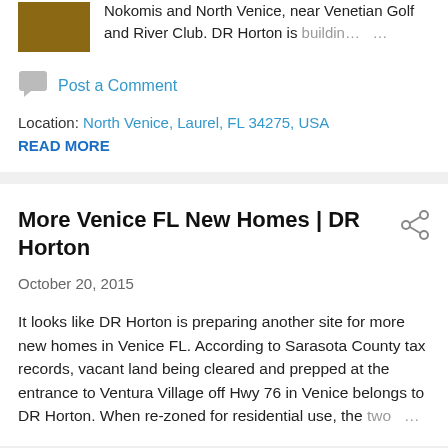[Figure (photo): Small thumbnail image, brownish/gold colored rectangle representing a property or real estate photo]
Nokomis and North Venice, near Venetian Golf and River Club. DR Horton is building ...
Post a Comment
Location: North Venice, Laurel, FL 34275, USA
READ MORE
More Venice FL New Homes | DR Horton
October 20, 2015
It looks like DR Horton is preparing another site for more new homes in Venice FL. According to Sarasota County tax records, vacant land being cleared and prepped at the entrance to Ventura Village off Hwy 76 in Venice belongs to DR Horton. When re-zoned for residential use, the two ...